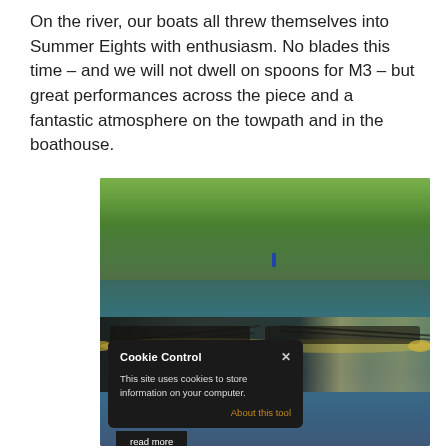On the river, our boats all threw themselves into Summer Eights with enthusiasm. No blades this time – and we will not dwell on spoons for M3 – but great performances across the piece and a fantastic atmosphere on the towpath and in the boathouse.
[Figure (photo): Photograph of two rowing eights racing on a river, with lush green trees in the background and blue water. Overlaid is a cookie consent banner reading 'Cookie Control' with a close button (X), text 'This site uses cookies to store information on your computer.', an 'About this tool' link in orange, and a 'read more' tab at the bottom.]